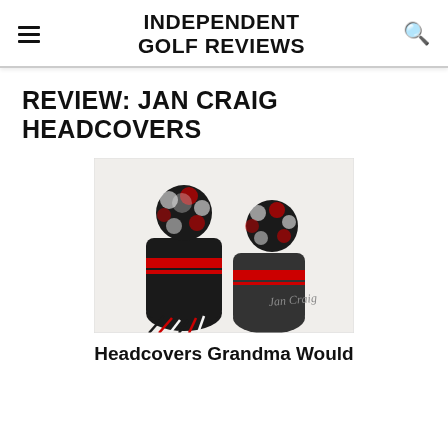INDEPENDENT GOLF REVIEWS
REVIEW: JAN CRAIG HEADCOVERS
[Figure (photo): Two black knitted golf headcovers with red and white pom-poms and tassels, with 'Jan Craig' signature in corner]
Headcovers Grandma Would